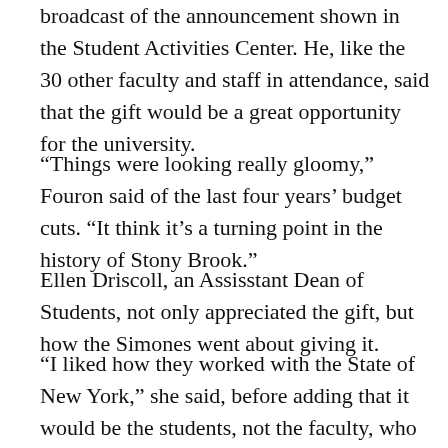broadcast of the announcement shown in the Student Activities Center. He, like the 30 other faculty and staff in attendance, said that the gift would be a great opportunity for the university.
“Things were looking really gloomy,” Fouron said of the last four years’ budget cuts. “It think it’s a turning point in the history of Stony Brook.”
Ellen Driscoll, an Assisstant Dean of Students, not only appreciated the gift, but how the Simones went about giving it.
“I liked how they worked with the State of New York,” she said, before adding that it would be the students, not the faculty, who would gain the most from the donation.